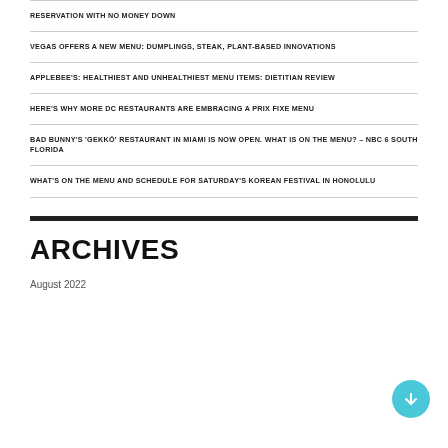RESERVATION WITH NO MONEY DOWN
VEGAS OFFERS A NEW MENU: DUMPLINGS, STEAK, PLANT-BASED INNOVATIONS
APPLEBEE'S: HEALTHIEST AND UNHEALTHIEST MENU ITEMS: DIETITIAN REVIEW
HERE'S WHY MORE DC RESTAURANTS ARE EMBRACING A PRIX FIXE MENU
BAD BUNNY'S 'GEKKŌ' RESTAURANT IN MIAMI IS NOW OPEN. WHAT IS ON THE MENU? – NBC 6 SOUTH FLORIDA
WHAT'S ON THE MENU AND SCHEDULE FOR SATURDAY'S KOREAN FESTIVAL IN HONOLULU
ARCHIVES
August 2022